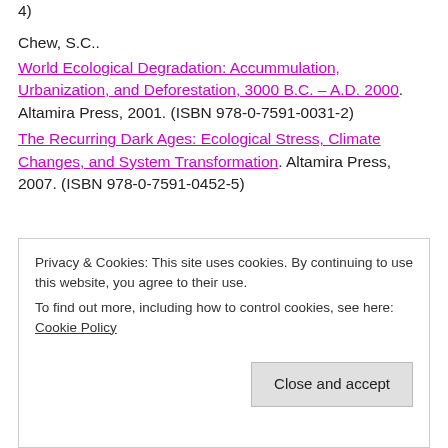4)
Chew, S.C.. World Ecological Degradation: Accummulation, Urbanization, and Deforestation, 3000 B.C. – A.D. 2000. Altamira Press, 2001. (ISBN 978-0-7591-0031-2) The Recurring Dark Ages: Ecological Stress, Climate Changes, and System Transformation. Altamira Press, 2007. (ISBN 978-0-7591-0452-5)
Privacy & Cookies: This site uses cookies. By continuing to use this website, you agree to their use. To find out more, including how to control cookies, see here: Cookie Policy
Close and accept